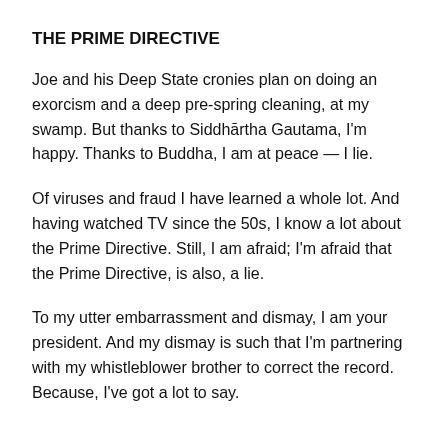THE PRIME DIRECTIVE
Joe and his Deep State cronies plan on doing an exorcism and a deep pre-spring cleaning, at my swamp. But thanks to Siddhārtha Gautama, I'm happy. Thanks to Buddha, I am at peace — I lie.
Of viruses and fraud I have learned a whole lot. And having watched TV since the 50s, I know a lot about the Prime Directive. Still, I am afraid; I'm afraid that the Prime Directive, is also, a lie.
To my utter embarrassment and dismay, I am your president. And my dismay is such that I'm partnering with my whistleblower brother to correct the record. Because, I've got a lot to say.